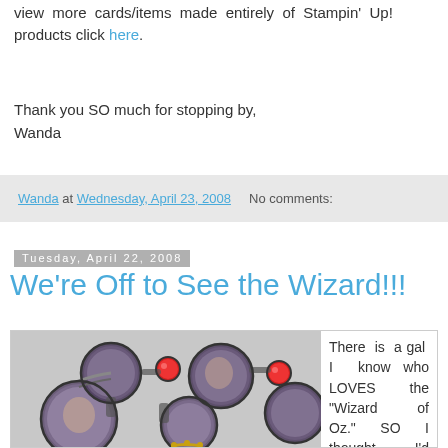view more cards/items made entirely of Stampin' Up! products click here.
Thank you SO much for stopping by,
Wanda
Wanda at Wednesday, April 23, 2008   No comments:
Tuesday, April 22, 2008
We're Off to See the Wizard!!!
[Figure (photo): A charm bracelet with circular medallions featuring Wizard of Oz character images and red gem accents, photographed on a light gray background.]
There is a gal I know who LOVES the "Wizard of Oz." SO I thought I'd make her a bracelet